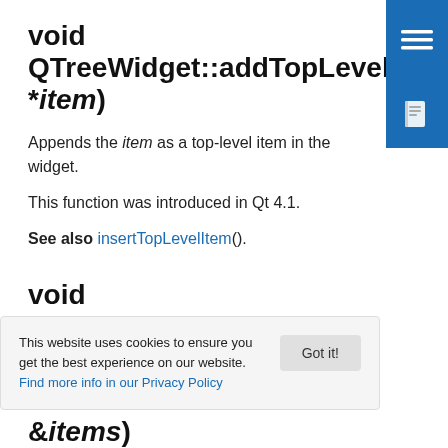void QTreeWidget::addTopLevelItem(QTreeWidgetItem *item)
Appends the item as a top-level item in the widget.
This function was introduced in Qt 4.1.
See also insertTopLevelItem().
void addTopLevelItems(const QList<QTreeWidgetItem *> &items)
This website uses cookies to ensure you get the best experience on our website. Find more info in our Privacy Policy